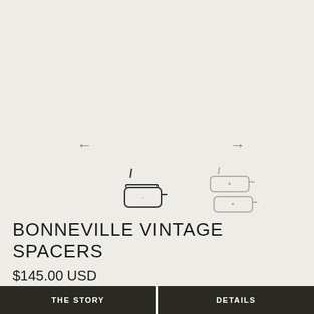[Figure (photo): Two product images of Bonneville Vintage Spacers — a dark/metal version on left and a lighter/outline version on right — shown side by side with left and right navigation arrows]
BONNEVILLE VINTAGE SPACERS
$145.00 USD
THE STORY   DETAILS